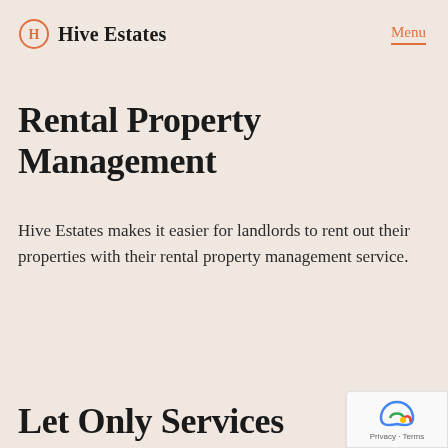Hive Estates  Menu
Rental Property Management
Hive Estates makes it easier for landlords to rent out their properties with their rental property management service.
Find out more
Let Only Services